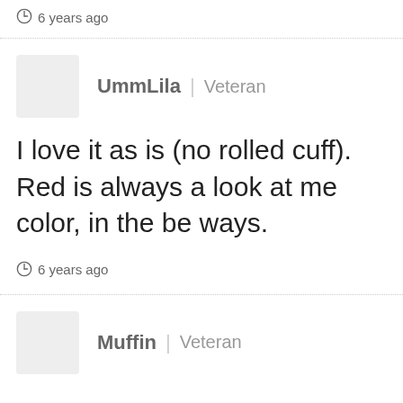6 years ago
UmmLila | Veteran
I love it as is (no rolled cuff). Red is always a look at me color, in the best ways.
6 years ago
Muffin | Veteran